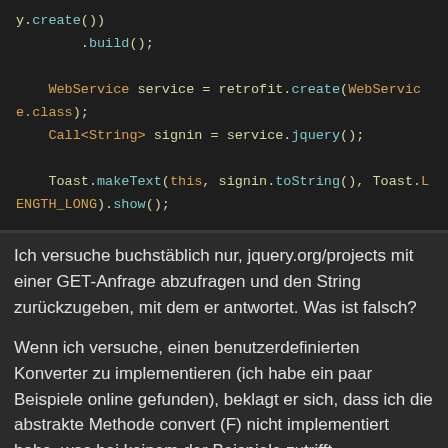[Figure (screenshot): Code block showing Java/Android code using Retrofit: y.create())
        .build();

    WebService service = retrofit.create(WebService.class);
    Call<String> signin = service.jquery();

    Toast.makeText(this, signin.toString(), Toast.LENGTH_LONG).show();]
Ich versuche buchstäblich nur, jquery.org/projects mit einer GET-Anfrage abzufragen und den String zurückzugeben, mit dem er antwortet. Was ist falsch?
Wenn ich versuche, einen benutzerdefinierten Konverter zu implementieren (ich habe ein paar Beispiele online gefunden), beklagt er sich, dass ich die abstrakte Methode convert (F) nicht implementiert habe, was bei keinem der Beispiele zutrifft.
Vielen Dank.